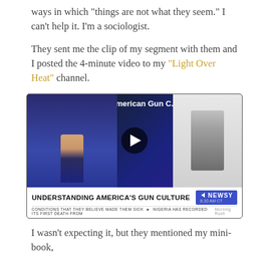ways in which "things are not what they seem." I can't help it. I'm a sociologist.
They sent me the clip of my segment with them and I posted the 4-minute video to my "Light Over Heat" channel.
[Figure (screenshot): YouTube video thumbnail showing a Newsy TV broadcast titled 'Talking About American Gun C...' with LIVE banner, two news anchors at a desk and a man in a vest appearing via video call. Lower third reads 'UNDERSTANDING AMERICA'S GUN CULTURE' with Newsy logo showing 8:10 AM CT Morning Rush. Ticker shows news headlines at bottom.]
I wasn't expecting it, but they mentioned my mini-book,